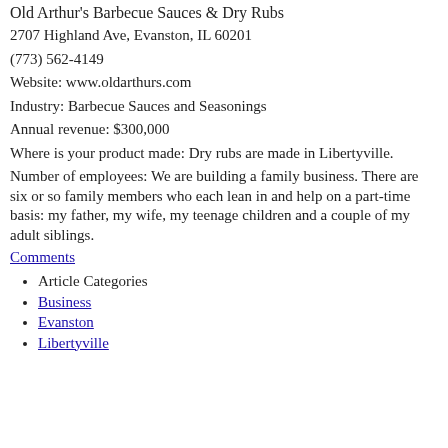Old Arthur's Barbecue Sauces & Dry Rubs
2707 Highland Ave, Evanston, IL 60201
(773) 562-4149
Website: www.oldarthurs.com
Industry: Barbecue Sauces and Seasonings
Annual revenue: $300,000
Where is your product made: Dry rubs are made in Libertyville.
Number of employees: We are building a family business. There are six or so family members who each lean in and help on a part-time basis: my father, my wife, my teenage children and a couple of my adult siblings.
Comments
Article Categories
Business
Evanston
Libertyville